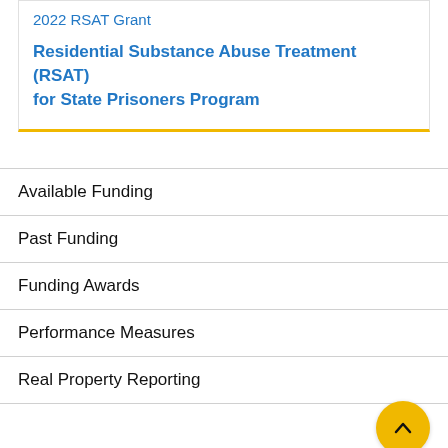2022 RSAT Grant
Residential Substance Abuse Treatment (RSAT) for State Prisoners Program
Available Funding
Past Funding
Funding Awards
Performance Measures
Real Property Reporting